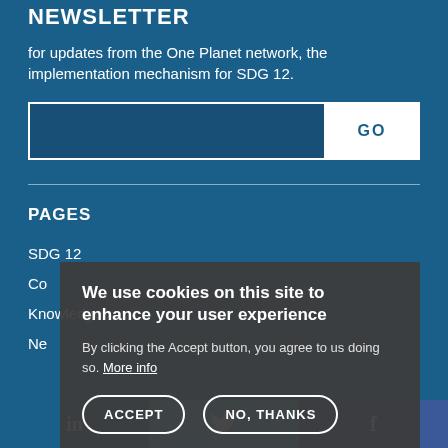NEWSLETTER
for updates from the One Planet network, the implementation mechanism for SDG 12.
PAGES
SDG 12
Co...
Knowledge
Ne...
[Figure (screenshot): Cookie consent overlay dialog with title 'We use cookies on this site to enhance your user experience', body text about Accept button, More info link, and two buttons: ACCEPT and NO, THANKS]
in  [twitter bird]  f